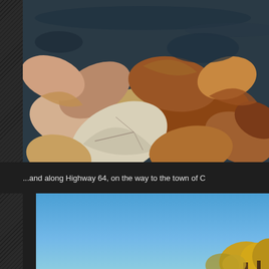[Figure (photo): Close-up photograph of autumn fallen leaves floating on dark water, showing brown, red, yellow and white leaves in detail]
...and along Highway 64, on the way to the town of C
[Figure (photo): Photograph of autumn trees with yellow/orange foliage against a bright blue sky, partially visible at bottom of page]